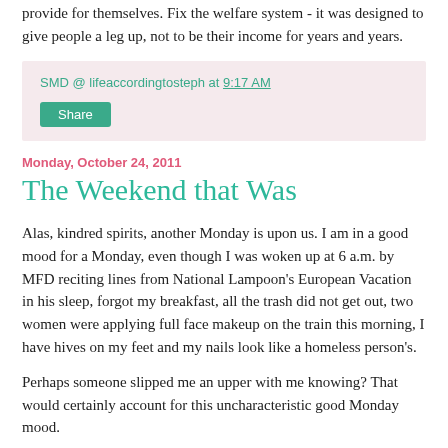provide for themselves. Fix the welfare system - it was designed to give people a leg up, not to be their income for years and years.
SMD @ lifeaccordingtosteph at 9:17 AM
Share
Monday, October 24, 2011
The Weekend that Was
Alas, kindred spirits, another Monday is upon us. I am in a good mood for a Monday, even though I was woken up at 6 a.m. by MFD reciting lines from National Lampoon's European Vacation in his sleep, forgot my breakfast, all the trash did not get out, two women were applying full face makeup on the train this morning, I have hives on my feet and my nails look like a homeless person's.
Perhaps someone slipped me an upper with me knowing? That would certainly account for this uncharacteristic good Monday mood.